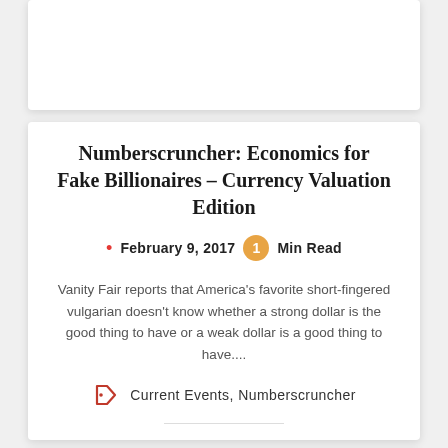Numberscruncher: Economics for Fake Billionaires – Currency Valuation Edition
February 9, 2017  1 Min Read
Vanity Fair reports that America's favorite short-fingered vulgarian doesn't know whether a strong dollar is the good thing to have or a weak dollar is a good thing to have....
Current Events, Numberscruncher
0 Comments